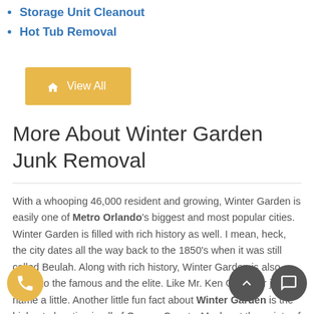Storage Unit Cleanout
Hot Tub Removal
View All
More About Winter Garden Junk Removal
With a whooping 46,000 resident and growing, Winter Garden is easily one of Metro Orlando's biggest and most popular cities. Winter Garden is filled with rich history as well. I mean, heck, the city dates all the way back to the 1850's when it was still called Beulah. Along with rich history, Winter Garden is also home to the famous and the elite. Like Mr. Ken Griffey Jr just to name a little. Another little fun fact about Winter Garden is the highest elevation in all of Orange County. Maybe at the points of Winter Garden you can get a birds eye view of